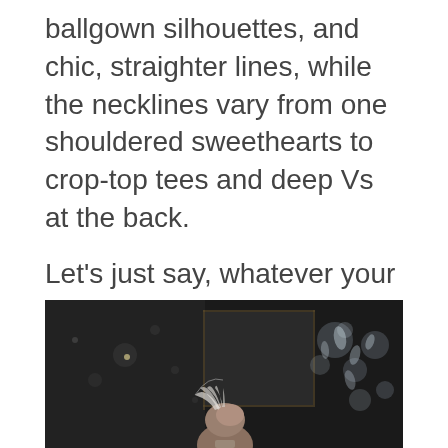ballgown silhouettes, and chic, straighter lines, while the necklines vary from one shouldered sweethearts to crop-top tees and deep Vs at the back.

Let's just say, whatever your style, if you like a touch of sparkle, you'll love this collection!
[Figure (photo): A dark photograph showing the back of a person's head with an updo hairstyle and a translucent fan-shaped hair accessory, with a chandelier visible in the background.]